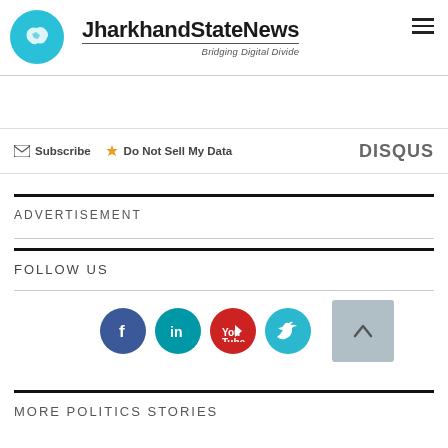[Figure (logo): JharkhandStateNews logo with cyan circle containing map of Jharkhand, site name in bold, tagline Bridging Digital Divide]
Subscribe  Do Not Sell My Data
DISQUS
ADVERTISEMENT
FOLLOW US
[Figure (infographic): Social media icons row: Facebook (blue circle), LinkedIn (teal circle), YouTube (red circle), Twitter (cyan circle), and a back-to-top button (grey square with up arrow)]
MORE POLITICS STORIES